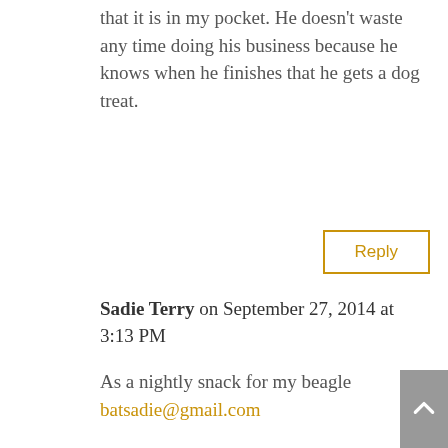that it is in my pocket. He doesn't waste any time doing his business because he knows when he finishes that he gets a dog treat.
Reply
Sadie Terry on September 27, 2014 at 3:13 PM
As a nightly snack for my beagle batsadie@gmail.com
Reply
bitt on September 27, 2014 at 7:00 PM
I use them to help my dog stay still when